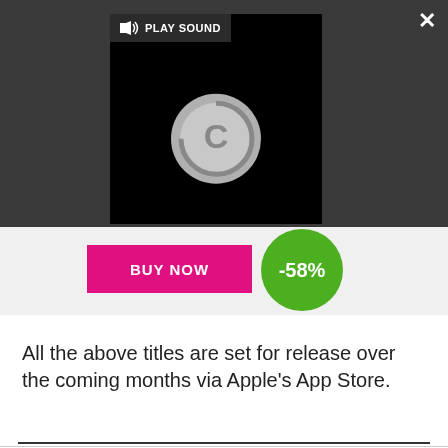[Figure (screenshot): Video player overlay with dark gray background, showing a black video player area with a loading circle (letter C) and a 'PLAY SOUND' button with speaker icon. Close (X) button top-right, expand arrows bottom-right.]
[Figure (screenshot): Advertisement overlay showing a pink 'BUY NOW' button and a green circle badge with '-58%' discount.]
All the above titles are set for release over the coming months via Apple's App Store.
[Figure (screenshot): Advertisement banner for 'Official NFL Gear' with title in blue, subtitle 'Get Your Favorite Team's Gear Here', URL 'www.nflshop.com' in green, and a circular arrow button on the right. Close button and ad icon top-right.]